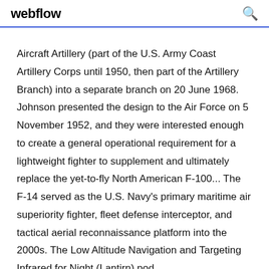webflow
Aircraft Artillery (part of the U.S. Army Coast Artillery Corps until 1950, then part of the Artillery Branch) into a separate branch on 20 June 1968. Johnson presented the design to the Air Force on 5 November 1952, and they were interested enough to create a general operational requirement for a lightweight fighter to supplement and ultimately replace the yet-to-fly North American F-100... The F-14 served as the U.S. Navy's primary maritime air superiority fighter, fleet defense interceptor, and tactical aerial reconnaissance platform into the 2000s. The Low Altitude Navigation and Targeting Infrared for Night (Lantirn) pod...